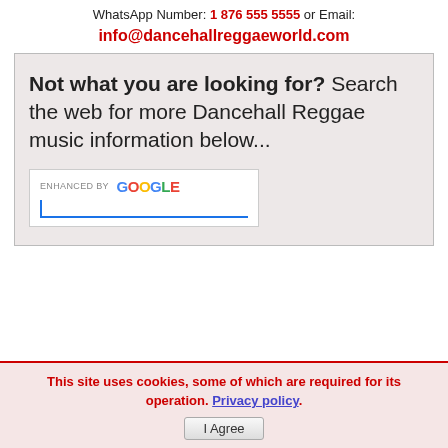WhatsApp Number: 1 876 555 5555 or Email:
info@dancehallreggaeworld.com
Not what you are looking for? Search the web for more Dancehall Reggae music information below...
[Figure (screenshot): Google search widget with 'enhanced by Go' label and text input field with blue underline cursor]
This site uses cookies, some of which are required for its operation. Privacy policy. I Agree